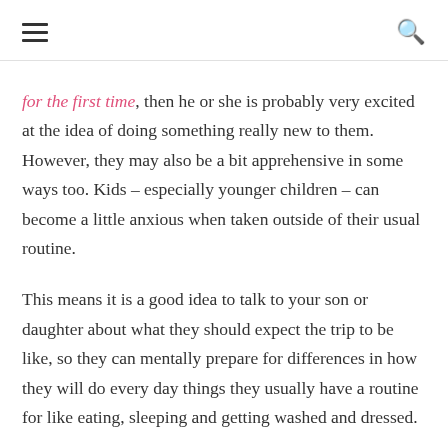[hamburger menu] [search icon]
for the first time, then he or she is probably very excited at the idea of doing something really new to them. However, they may also be a bit apprehensive in some ways too. Kids – especially younger children – can become a little anxious when taken outside of their usual routine.
This means it is a good idea to talk to your son or daughter about what they should expect the trip to be like, so they can mentally prepare for differences in how they will do every day things they usually have a routine for like eating, sleeping and getting washed and dressed.
Your child might also have some unfounded